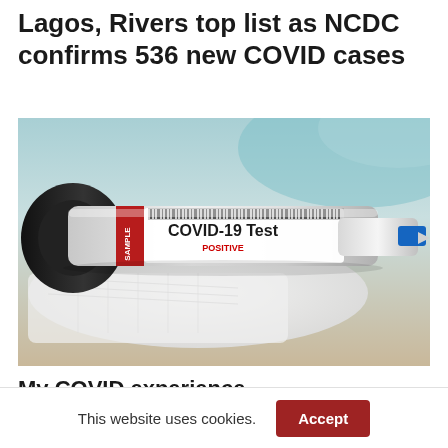Lagos, Rivers top list as NCDC confirms 536 new COVID cases
[Figure (photo): Close-up photo of a COVID-19 test sample vial labeled 'COVID-19 Test POSITIVE' with a red 'SAMPLE' band, a syringe-like device with a blue cap, resting on white gauze material against a blurred teal/white background.]
My COVID experience
This website uses cookies.
Accept